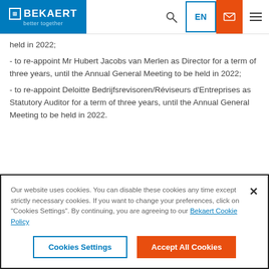BEKAERT better together
held in 2022;
- to re-appoint Mr Hubert Jacobs van Merlen as Director for a term of three years, until the Annual General Meeting to be held in 2022;
- to re-appoint Deloitte Bedrijfsrevisoren/Réviseurs d'Entreprises as Statutory Auditor for a term of three years, until the Annual General Meeting to be held in 2022.
Our website uses cookies. You can disable these cookies any time except strictly necessary cookies. If you want to change your preferences, click on "Cookies Settings". By continuing, you are agreeing to our Bekaert Cookie Policy
Cookies Settings | Accept All Cookies